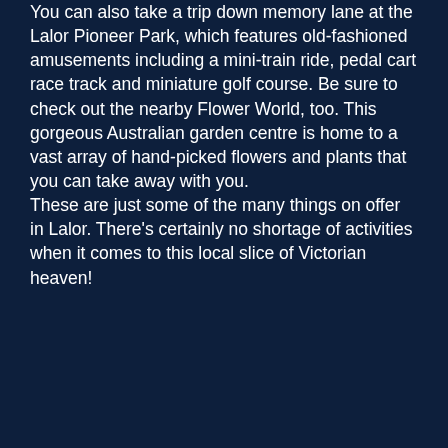You can also take a trip down memory lane at the Lalor Pioneer Park, which features old-fashioned amusements including a mini-train ride, pedal cart race track and miniature golf course. Be sure to check out the nearby Flower World, too. This gorgeous Australian garden centre is home to a vast array of hand-picked flowers and plants that you can take away with you. These are just some of the many things on offer in Lalor. There's certainly no shortage of activities when it comes to this local slice of Victorian heaven!